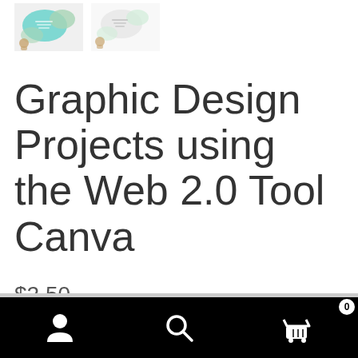[Figure (screenshot): Two thumbnail screenshots of Canva graphic design project templates]
Graphic Design Projects using the Web 2.0 Tool Canva
$2.50
Creative Projects in Canva utilizes the free Web 2.0 tool
Navigation bar with user icon, search icon, and cart icon showing 0